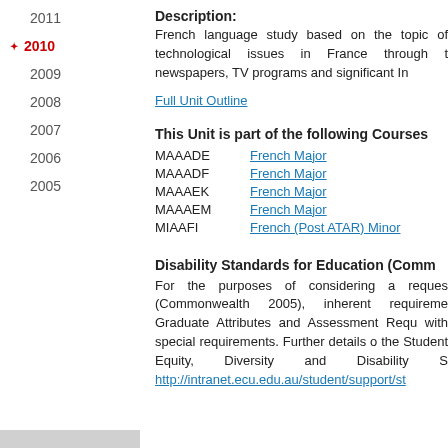2011
2010 (active/selected)
2009
2008
2007
2006
2005
Description:
French language study based on the topic of technological issues in France through t newspapers, TV programs and significant In
Full Unit Outline
This Unit is part of the following Courses
MAAADE   French Major
MAAADF   French Major
MAAAEK   French Major
MAAAEM   French Major
MIAAFI    French (Post ATAR) Minor
Disability Standards for Education (Comm
For the purposes of considering a reques (Commonwealth 2005), inherent requireme Graduate Attributes and Assessment Requ with special requirements. Further details o the Student Equity, Diversity and Disability S http://intranet.ecu.edu.au/student/support/st